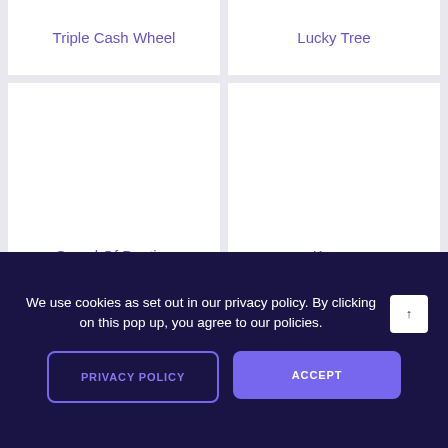Triple Cash Wheel
Lucky Tree
[Figure (illustration): White card with game thumbnail area — Sword Of Destiny]
Sword Of Destiny
[Figure (illustration): White card with game thumbnail area — Kooza]
Kooza
[Figure (illustration): Partial white card (bottom row left)]
[Figure (illustration): Partial white card (bottom row right)]
We use cookies as set out in our privacy policy. By clicking on this pop up, you agree to our policies.
PRIVACY POLICY
ACCEPT